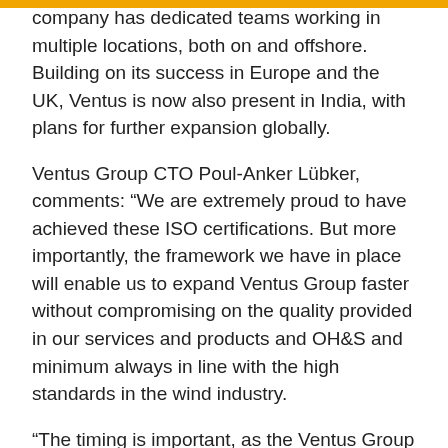company has dedicated teams working in multiple locations, both on and offshore. Building on its success in Europe and the UK, Ventus is now also present in India, with plans for further expansion globally.
Ventus Group CTO Poul-Anker Lübker, comments: “We are extremely proud to have achieved these ISO certifications. But more importantly, the framework we have in place will enable us to expand Ventus Group faster without compromising on the quality provided in our services and products and OH&S and minimum always in line with the high standards in the wind industry.
“The timing is important, as the Ventus Group is experiencing a fast rate of growth geographically and is about to launch new products in the market. Many of our clients operate globally and we are committed to follow them wherever their wind